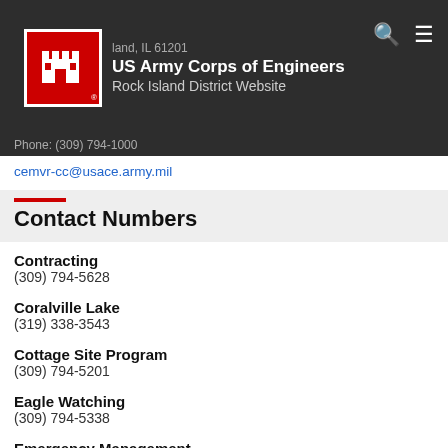US Army Corps of Engineers Rock Island District Website
cemvr-cc@usace.army.mil
Contact Numbers
Contracting
(309) 794-5628
Coralville Lake
(319) 338-3543
Cottage Site Program
(309) 794-5201
Eagle Watching
(309) 794-5338
Emergency Management
(309) 794-5505